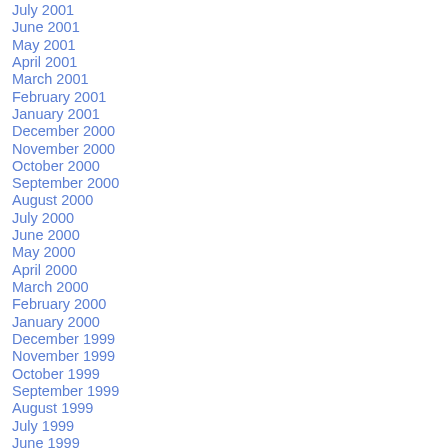July 2001
June 2001
May 2001
April 2001
March 2001
February 2001
January 2001
December 2000
November 2000
October 2000
September 2000
August 2000
July 2000
June 2000
May 2000
April 2000
March 2000
February 2000
January 2000
December 1999
November 1999
October 1999
September 1999
August 1999
July 1999
June 1999
May 1999
April 1999
March 1999
February 1999